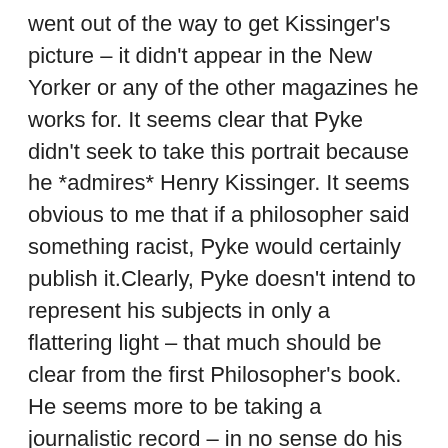went out of the way to get Kissinger's picture – it didn't appear in the New Yorker or any of the other magazines he works for. It seems clear that Pyke didn't seek to take this portrait because he *admires* Henry Kissinger. It seems obvious to me that if a philosopher said something racist, Pyke would certainly publish it.Clearly, Pyke doesn't intend to represent his subjects in only a flattering light – that much should be clear from the first Philosopher's book. He seems more to be taking a journalistic record – in no sense do his portraits, either of war criminals (such as Kissinger or Pinochet) or philosophers seem to be intended to place their subjects in a particularly flattering light. I would assume the same is true of these 50 word summaries. He's trying to represent philosophers in this series, however idiotically or hideously they appear. Philosophers often seem like a foreign